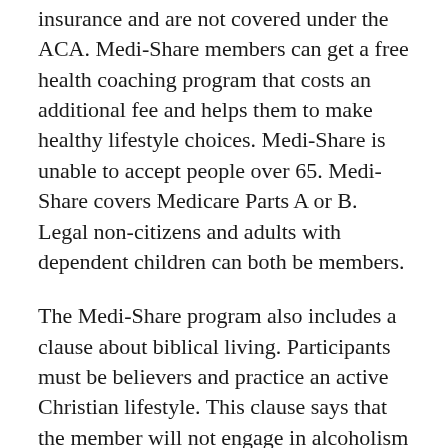insurance and are not covered under the ACA. Medi-Share members can get a free health coaching program that costs an additional fee and helps them to make healthy lifestyle choices. Medi-Share is unable to accept people over 65. Medi-Share covers Medicare Parts A or B. Legal non-citizens and adults with dependent children can both be members.
The Medi-Share program also includes a clause about biblical living. Participants must be believers and practice an active Christian lifestyle. This clause says that the member will not engage in alcoholism or drug abuse. Members must also abstain from smoking and illegal drugs. Medi-Share covers adoption and pregnancy. As long as the members contribute monthly, they are eligible for coverage. If the